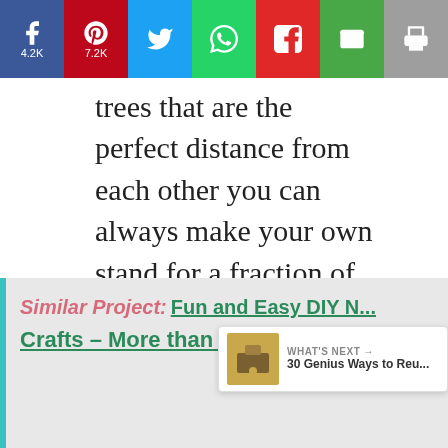[Figure (screenshot): Social share bar with Facebook (4.2K), Pinterest (7.2K), Twitter, WhatsApp, Flipboard, Email, and Print buttons]
trees that are the perfect distance from each other you can always make your own stand for a fraction of the price. This one only cost about $40 to make! It may seem like quite a daunting task, but the tutorial will guide you through it every step of the way.
DIY Instructions and Project Credit –
HereComesTheSun
Similar Project:  Fun and Easy DIY N... Crafts – More than 50 Projects
[Figure (screenshot): What's Next widget showing thumbnail and title '30 Genius Ways to Reu...']